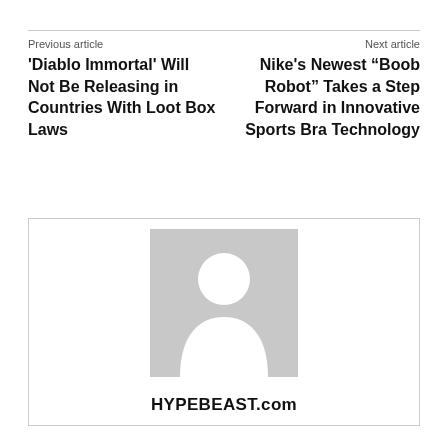Previous article
'Diablo Immortal' Will Not Be Releasing in Countries With Loot Box Laws
Next article
Nike's Newest “Boob Robot” Takes a Step Forward in Innovative Sports Bra Technology
[Figure (illustration): A placeholder avatar image showing a generic person silhouette (head and shoulders) in white on a gray background, with the text HYPEBEAST.com below it.]